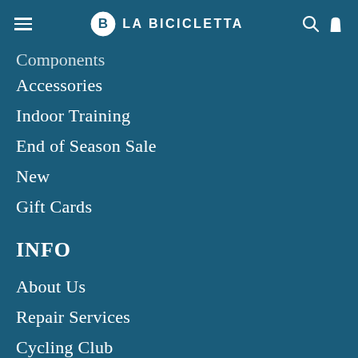LA BICICLETTA
Components (partially visible)
Accessories
Indoor Training
End of Season Sale
New
Gift Cards
INFO
About Us
Repair Services
Cycling Club
Stories
Shipping / FAQ / Returns
Financing
Terms of Service
Refund policy